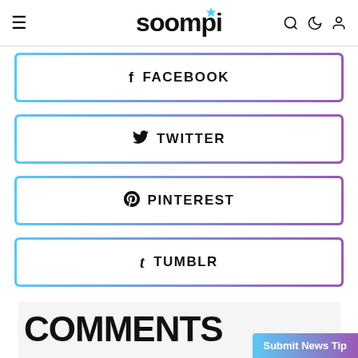soompi
FACEBOOK
TWITTER
PINTEREST
TUMBLR
COMMENTS
Submit News Tip